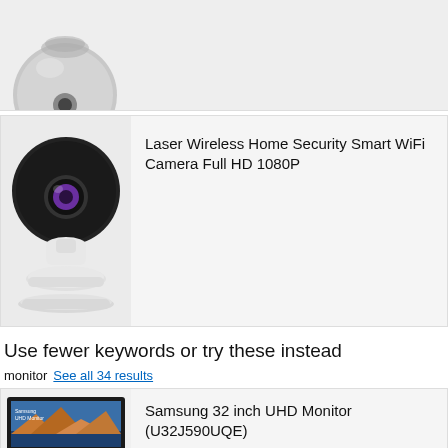[Figure (photo): Top portion of a grey/white round security camera (cropped view, top half visible)]
[Figure (photo): Laser Wireless Home Security Smart WiFi Camera - black dome-shaped camera on white stand, full product image]
Laser Wireless Home Security Smart WiFi Camera Full HD 1080P
Use fewer keywords or try these instead
monitor  See all 34 results
[Figure (photo): Samsung 32 inch UHD Monitor (U32J590UQE) product image, shown on black stand with landscape wallpaper on screen]
Samsung 32 inch UHD Monitor (U32J590UQE)
★★★★★ 28